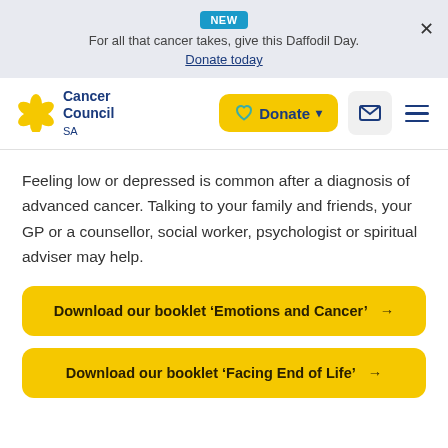NEW — For all that cancer takes, give this Daffodil Day. Donate today
[Figure (logo): Cancer Council SA logo with yellow flower icon]
Feeling low or depressed is common after a diagnosis of advanced cancer. Talking to your family and friends, your GP or a counsellor, social worker, psychologist or spiritual adviser may help.
Download our booklet ‘Emotions and Cancer’ →
Download our booklet ‘Facing End of Life’ →